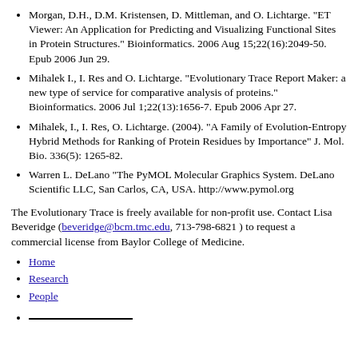Morgan, D.H., D.M. Kristensen, D. Mittleman, and O. Lichtarge. "ET Viewer: An Application for Predicting and Visualizing Functional Sites in Protein Structures." Bioinformatics. 2006 Aug 15;22(16):2049-50. Epub 2006 Jun 29.
Mihalek I., I. Res and O. Lichtarge. "Evolutionary Trace Report Maker: a new type of service for comparative analysis of proteins." Bioinformatics. 2006 Jul 1;22(13):1656-7. Epub 2006 Apr 27.
Mihalek, I., I. Res, O. Lichtarge. (2004). "A Family of Evolution-Entropy Hybrid Methods for Ranking of Protein Residues by Importance" J. Mol. Bio. 336(5): 1265-82.
Warren L. DeLano "The PyMOL Molecular Graphics System. DeLano Scientific LLC, San Carlos, CA, USA. http://www.pymol.org
The Evolutionary Trace is freely available for non-profit use. Contact Lisa Beveridge (beveridge@bcm.tmc.edu, 713-798-6821 ) to request a commercial license from Baylor College of Medicine.
Home
Research
People